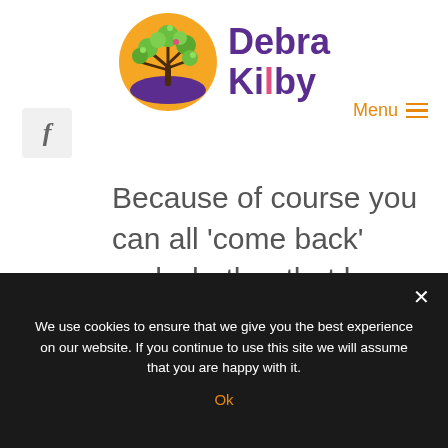[Figure (logo): Debra Kilby logo: circular orange/purple tree illustration with 'Debra Kilby' text in purple]
Menu ≡
[Figure (logo): Facebook social media icon button (f) in grey square]
Because of course you can all 'come back' and whether that be into another form or another body is entirely the choice of you and not the
We use cookies to ensure that we give you the best experience on our website. If you continue to use this site we will assume that you are happy with it.
Ok